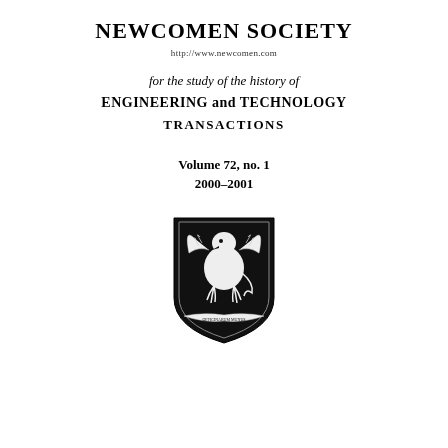NEWCOMEN SOCIETY
http://www.newcomen.com
for the study of the history of
ENGINEERING and TECHNOLOGY
TRANSACTIONS
Volume 72, no. 1
2000–2001
[Figure (logo): Newcomen Society heraldic crest/coat of arms showing a griffin on a shield with a banner, black and white illustration]